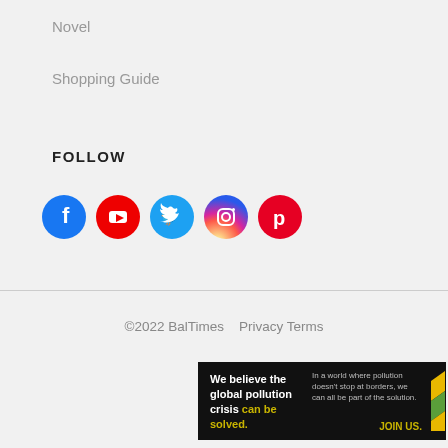Novel
Shopping Guide
FOLLOW
[Figure (infographic): Social media icons: Facebook (blue), YouTube (red), Twitter (light blue), Instagram (gradient), Pinterest (red)]
©2022 BalTimes   Privacy Terms
[Figure (infographic): Advertisement banner: 'We believe the global pollution crisis can be solved. In a world where pollution doesn't stop at borders, we can all be part of the solution. JOIN US.' on dark background with partial logo on right.]